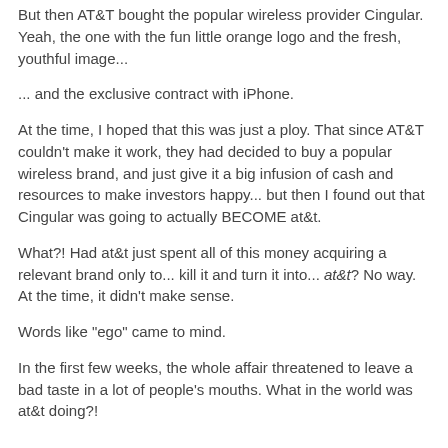But then AT&T bought the popular wireless provider Cingular. Yeah, the one with the fun little orange logo and the fresh, youthful image...
... and the exclusive contract with iPhone.
At the time, I hoped that this was just a ploy. That since AT&T couldn't make it work, they had decided to buy a popular wireless brand, and just give it a big infusion of cash and resources to make investors happy... but then I found out that Cingular was going to actually BECOME at&t.
What?! Had at&t just spent all of this money acquiring a relevant brand only to... kill it and turn it into... at&t? No way. At the time, it didn't make sense.
Words like "ego" came to mind.
In the first few weeks, the whole affair threatened to leave a bad taste in a lot of people's mouths. What in the world was at&t doing?!